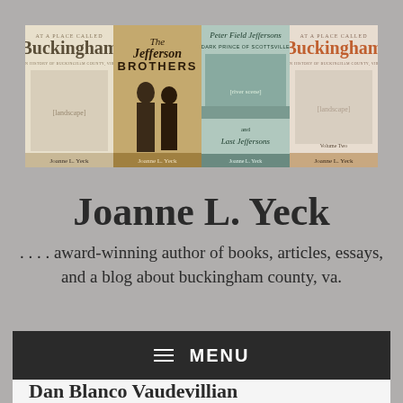[Figure (illustration): Four book covers by Joanne L. Yeck displayed side by side: 'At a Place Called Buckingham' (vol 1, cream cover with landscape sketch), 'The Jefferson Brothers' (tan/gold cover with two silhouettes), 'Peter Field Jefferson: Dark Prince of Scottsville and Last Jeffersons' (blue-green cover with landscape), 'At a Place Called Buckingham Volume Two' (cream cover with landscape sketch)]
Joanne L. Yeck
. . . . award-winning author of books, articles, essays, and a blog about buckingham county, va.
≡  MENU
Dan Blanco Vaudevillian